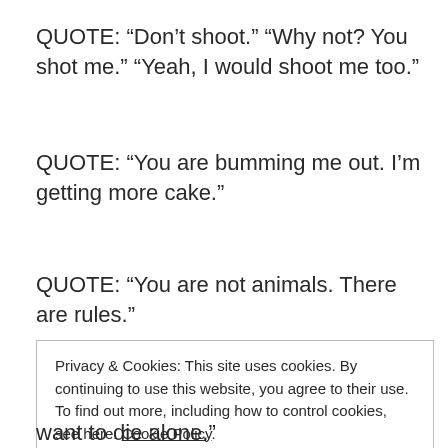QUOTE: “Don’t shoot.” “Why not? You shot me.” “Yeah, I would shoot me too.”
QUOTE: “You are bumming me out. I’m getting more cake.”
QUOTE: “You are not animals. There are rules.”
Privacy & Cookies: This site uses cookies. By continuing to use this website, you agree to their use. To find out more, including how to control cookies, see here: Cookie Policy
Close and accept
want to die alone.”